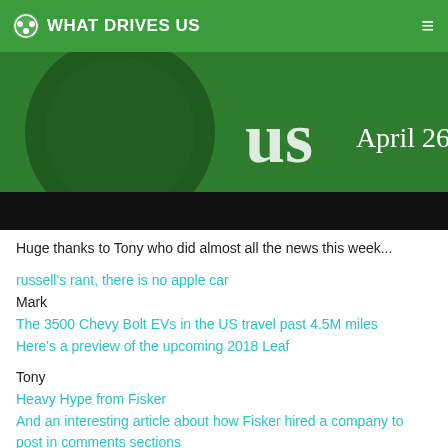WHAT DRIVES US
[Figure (photo): Green banner image with 'us' text and 'April 26, 2017' date on dark background]
Huge thanks to Tony who did almost all the news this week...
russell's rant, there is no apple car
Mark
The 3500 Chevy Bolt EVs in the US travel past 4.5M miles
Here's a preview of the upcoming 2018 Leaf
Tony
Heavy Hype from Fisker
And an interesting article about how Fisker hired a company to post in comments sections
Paul
Apple Maps adds EV Charging Stations (in the IK for now)
Russell